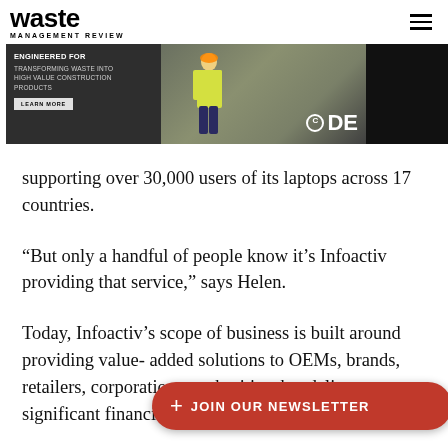waste MANAGEMENT REVIEW
[Figure (photo): CDE advertisement banner: 'Engineered for transforming waste into high value construction products' with Learn More button, worker in hi-vis vest photo, and CDE logo]
supporting over 30,000 users of its laptops across 17 countries.
“But only a handful of people know it’s Infoactiv providing that service,” says Helen.
Today, Infoactiv’s scope of business is built around providing value- added solutions to OEMs, brands, retailers, corporations, authorities that deliver significant financial, brand and
[Figure (other): Red pill-shaped JOIN OUR NEWSLETTER button with plus icon]